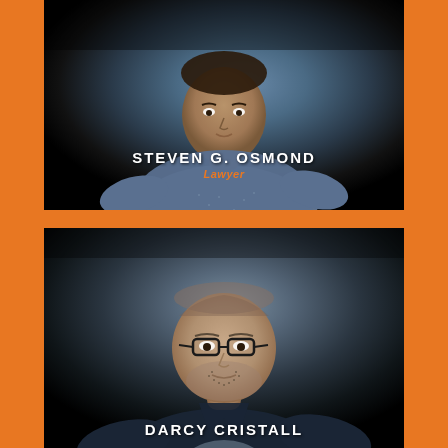[Figure (photo): Professional headshot of Steven G. Osmond, a lawyer, shown from chest up against a dark background, wearing a blue patterned shirt]
STEVEN G. OSMOND
Lawyer
[Figure (photo): Professional headshot of a man with glasses, dark jacket and patterned shirt, with short hair and beard stubble, against a dark background]
DARCY CRISTALL